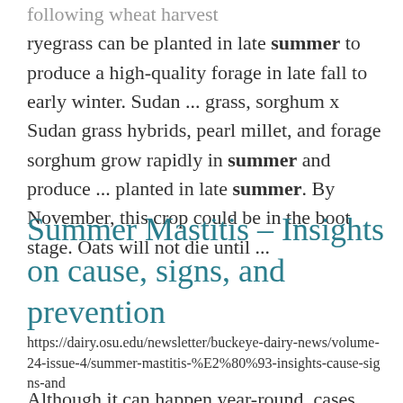following wheat harvest ryegrass can be planted in late summer to produce a high-quality forage in late fall to early winter. Sudan ... grass, sorghum x Sudan grass hybrids, pearl millet, and forage sorghum grow rapidly in summer and produce ... planted in late summer. By November, this crop could be in the boot stage. Oats will not die until ...
Summer Mastitis – Insights on cause, signs, and prevention
https://dairy.osu.edu/newsletter/buckeye-dairy-news/volume-24-issue-4/summer-mastitis-%E2%80%93-insights-cause-signs-and
Although it can happen year-round, cases